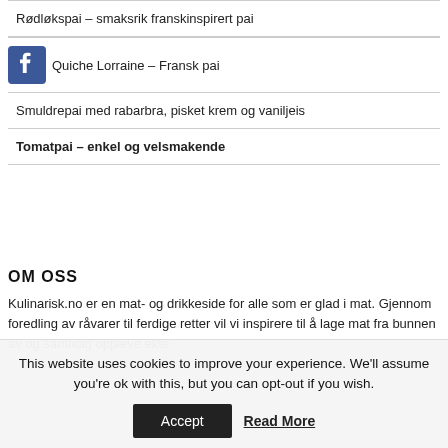Rødløkspai – smaksrik franskinspirert pai
Quiche Lorraine – Fransk pai
Smuldrepai med rabarbra, pisket krem og vaniljeis
Tomatpai – enkel og velsmakende
OM OSS
Kulinarisk.no er en mat- og drikkeside for alle som er glad i mat. Gjennom foredling av råvarer til ferdige retter vil vi inspirere til å lage mat fra bunnen av og samtidig oppleve ekte
This website uses cookies to improve your experience. We'll assume you're ok with this, but you can opt-out if you wish.